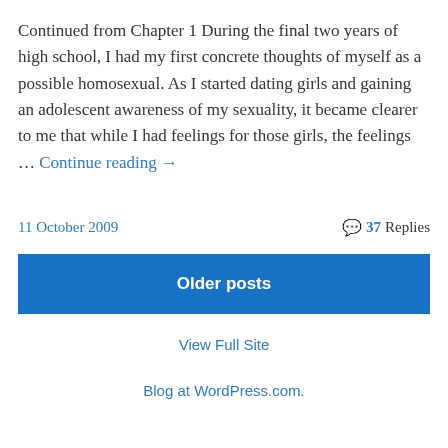Continued from Chapter 1 During the final two years of high school, I had my first concrete thoughts of myself as a possible homosexual. As I started dating girls and gaining an adolescent awareness of my sexuality, it became clearer to me that while I had feelings for those girls, the feelings … Continue reading →
11 October 2009
37 Replies
Older posts
View Full Site
Blog at WordPress.com.